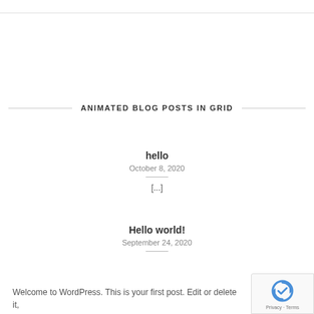ANIMATED BLOG POSTS IN GRID
hello
October 8, 2020
[...]
Hello world!
September 24, 2020
Welcome to WordPress. This is your first post. Edit or delete it,